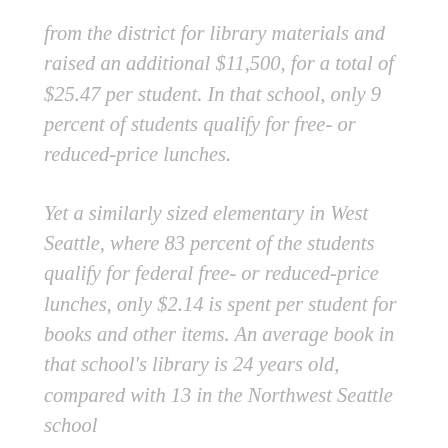from the district for library materials and raised an additional $11,500, for a total of $25.47 per student. In that school, only 9 percent of students qualify for free- or reduced-price lunches.
Yet a similarly sized elementary in West Seattle, where 83 percent of the students qualify for federal free- or reduced-price lunches, only $2.14 is spent per student for books and other items. An average book in that school's library is 24 years old, compared with 13 in the Northwest Seattle school